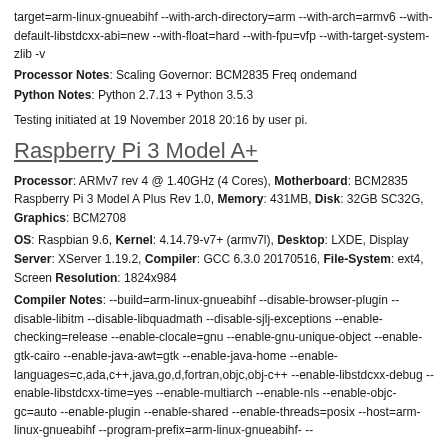target=arm-linux-gnueabihf --with-arch-directory=arm --with-arch=armv6 --with-default-libstdcxx-abi=new --with-float=hard --with-fpu=vfp --with-target-system-zlib -v
Processor Notes: Scaling Governor: BCM2835 Freq ondemand
Python Notes: Python 2.7.13 + Python 3.5.3
Testing initiated at 19 November 2018 20:16 by user pi.
Raspberry Pi 3 Model A+
Processor: ARMv7 rev 4 @ 1.40GHz (4 Cores), Motherboard: BCM2835 Raspberry Pi 3 Model A Plus Rev 1.0, Memory: 431MB, Disk: 32GB SC32G, Graphics: BCM2708
OS: Raspbian 9.6, Kernel: 4.14.79-v7+ (armv7l), Desktop: LXDE, Display Server: XServer 1.19.2, Compiler: GCC 6.3.0 20170516, File-System: ext4, Screen Resolution: 1824x984
Compiler Notes: --build=arm-linux-gnueabihf --disable-browser-plugin --disable-libitm --disable-libquadmath --disable-sjlj-exceptions --enable-checking=release --enable-clocale=gnu --enable-gnu-unique-object --enable-gtk-cairo --enable-java-awt=gtk --enable-java-home --enable-languages=c,ada,c++,java,go,d,fortran,objc,obj-c++ --enable-libstdcxx-debug --enable-libstdcxx-time=yes --enable-multiarch --enable-nls --enable-objc-gc=auto --enable-plugin --enable-shared --enable-threads=posix --host=arm-linux-gnueabihf --program-prefix=arm-linux-gnueabihf- --